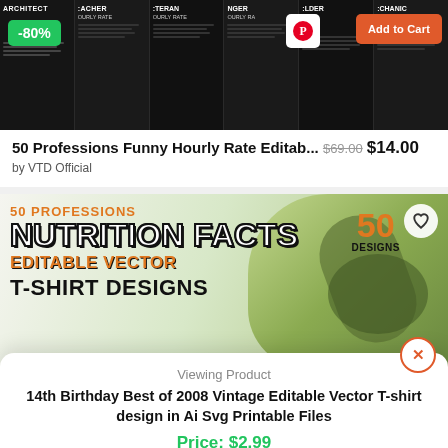[Figure (screenshot): Product listing image showing multiple dark t-shirts with profession hourly rate designs, with -80% badge in green and Add to Cart button in orange-red, plus Pinterest icon button]
50 Professions Funny Hourly Rate Editab... $69.00 $14.00
by VTD Official
[Figure (screenshot): Product banner image with text: 50 PROFESSIONS NUTRITION FACTS EDITABLE VECTOR T-SHIRT DESIGNS, with 50 DESIGNS badge on right side and food/vegetables photo background. Heart icon top right.]
Viewing Product
14th Birthday Best of 2008 Vintage Editable Vector T-shirt design in Ai Svg Printable Files
Price: $2.99
Add to cart